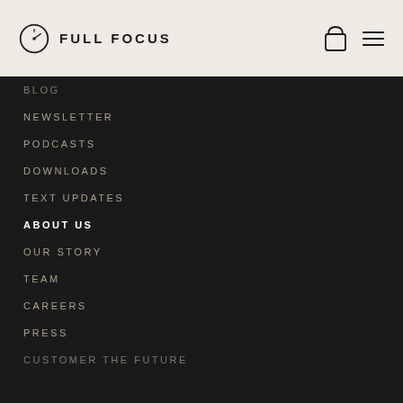FULL FOCUS
BLOG (clipped)
NEWSLETTER
PODCASTS
DOWNLOADS
TEXT UPDATES
ABOUT US
OUR STORY
TEAM
CAREERS
PRESS
CUSTOMER THE FUTURE (clipped)